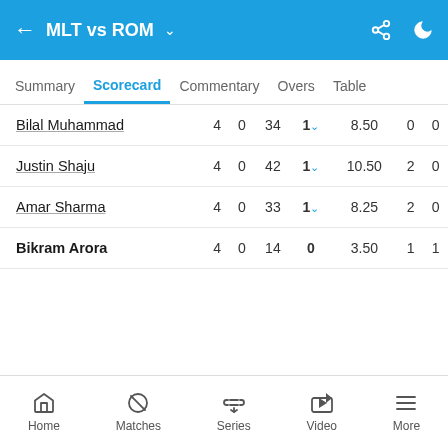MLT vs ROM
Summary | Scorecard | Commentary | Overs | Table
| Player | O | M | R | W | Econ | WD | NB |
| --- | --- | --- | --- | --- | --- | --- | --- |
| Bilal Muhammad | 4 | 0 | 34 | 1 | 8.50 | 0 | 0 |
| Justin Shaju | 4 | 0 | 42 | 1 | 10.50 | 2 | 0 |
| Amar Sharma | 4 | 0 | 33 | 1 | 8.25 | 2 | 0 |
| Bikram Arora | 4 | 0 | 14 | 0 | 3.50 | 1 | 1 |